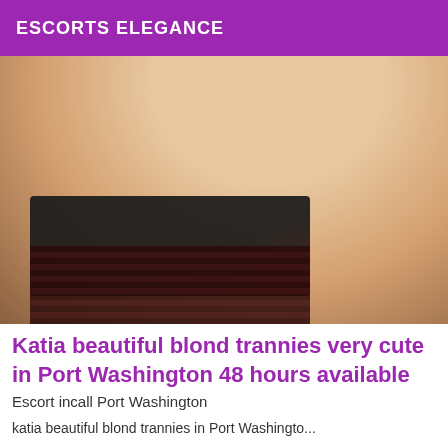ESCORTS ELEGANCE
[Figure (photo): Close-up photo of a person wearing a dark plaid top/skirt, showing upper body with skin visible, against a light background.]
Katia beautiful blond trannies very cute in Port Washington 48 hours available
Escort incall Port Washington
katia beautiful blond trannies in Port Washington...